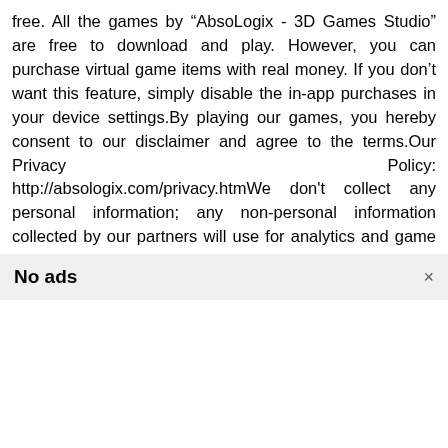free. All the games by “AbsoLogix - 3D Games Studio” are free to download and play. However, you can purchase virtual game items with real money. If you don’t want this feature, simply disable the in-app purchases in your device settings.By playing our games, you hereby consent to our disclaimer and agree to the terms.Our Privacy Policy: http://absologix.com/privacy.htmWe don't collect any personal information; any non-personal information collected by our partners will use for analytics and game improvements.
No ads